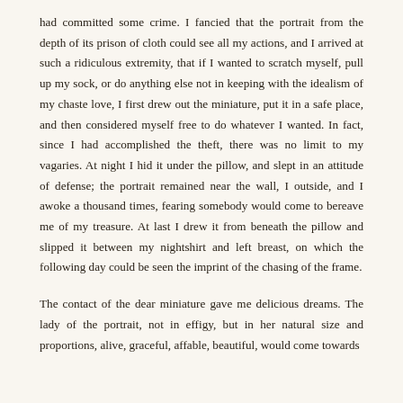had committed some crime. I fancied that the portrait from the depth of its prison of cloth could see all my actions, and I arrived at such a ridiculous extremity, that if I wanted to scratch myself, pull up my sock, or do anything else not in keeping with the idealism of my chaste love, I first drew out the miniature, put it in a safe place, and then considered myself free to do whatever I wanted. In fact, since I had accomplished the theft, there was no limit to my vagaries. At night I hid it under the pillow, and slept in an attitude of defense; the portrait remained near the wall, I outside, and I awoke a thousand times, fearing somebody would come to bereave me of my treasure. At last I drew it from beneath the pillow and slipped it between my nightshirt and left breast, on which the following day could be seen the imprint of the chasing of the frame.
The contact of the dear miniature gave me delicious dreams. The lady of the portrait, not in effigy, but in her natural size and proportions, alive, graceful, affable, beautiful, would come towards